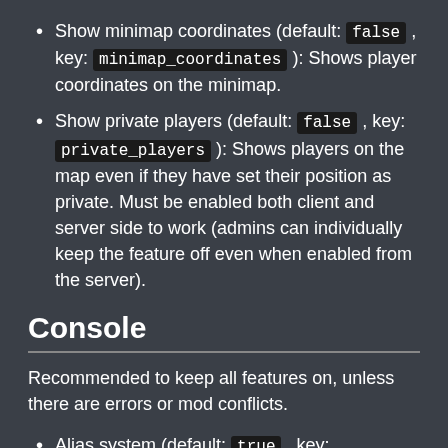Show minimap coordinates (default: false , key: minimap_coordinates ): Shows player coordinates on the minimap.
Show private players (default: false , key: private_players ): Shows players on the map even if they have set their position as private. Must be enabled both client and server side to work (admins can individually keep the feature off even when enabled from the server).
Console
Recommended to keep all features on, unless there are errors or mod conflicts.
Alias system (default: true , key: aliasing ): Enables command aliasing.
Auto exec (key: auto_exec ): Executes the